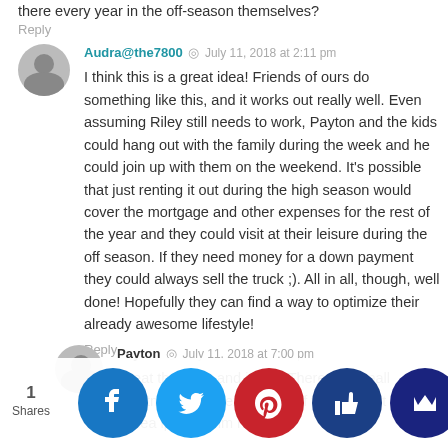there every year in the off-season themselves?
Reply
Audra@the7800 · July 11, 2018 at 2:11 pm
I think this is a great idea! Friends of ours do something like this, and it works out really well. Even assuming Riley still needs to work, Payton and the kids could hang out with the family during the week and he could join up with them on the weekend. It's possible that just renting it out during the high season would cover the mortgage and other expenses for the rest of the year and they could visit at their leisure during the off season. If they need money for a down payment they could always sell the truck ;). All in all, though, well done! Hopefully they can find a way to optimize their already awesome lifestyle!
Reply
Payton · July 11, 2018 at 7:00 pm
Great thoughts and ideas. There is a small apartment complex we considered for very reasons it is rented to seasonal help during summer. This op…